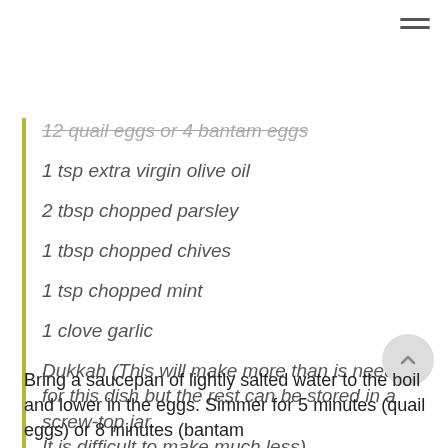12 quail eggs or 4 bantam eggs (strikethrough)
1 tsp extra virgin olive oil
2 tbsp chopped parsley
1 tbsp chopped chives
1 tsp chopped mint
1 clove garlic
Dukkah (This will make more than is needed for this dish but the rest can be stored in a screw-top jar. It is difficult to make much less)
25g hazelnuts
50g sesame seeds
25g coriander seeds
sea salt
pepper
Bring a saucepan of lightly salted water to the boil and lower in the eggs. Simmer for 5 minutes (quail eggs) or 8 minutes (bantam